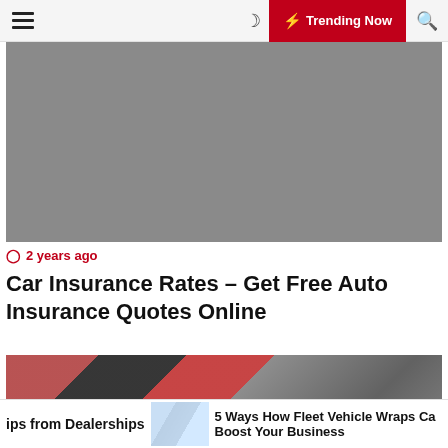☰  ☽  ⚡ Trending Now  🔍
[Figure (photo): Gray placeholder hero image for car insurance article]
🕐 2 years ago
Car Insurance Rates – Get Free Auto Insurance Quotes Online
[Figure (photo): Woman in dark jacket looking at a row of cars at a dealership lot, red car in foreground]
ips from Dealerships   [thumbnail]   5 Ways How Fleet Vehicle Wraps Ca... Boost Your Business